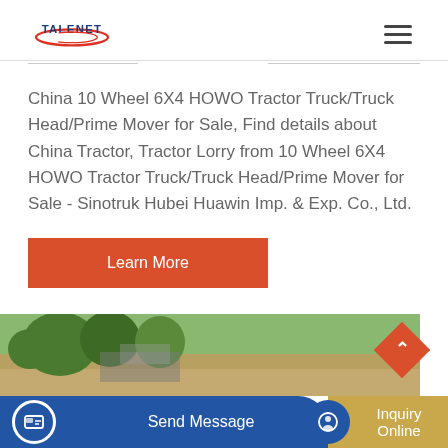TALENET
China 10 Wheel 6X4 HOWO Tractor Truck/Truck Head/Prime Mover for Sale, Find details about China Tractor, Tractor Lorry from 10 Wheel 6X4 HOWO Tractor Truck/Truck Head/Prime Mover for Sale - Sinotruk Hubei Huawin Imp. & Exp. Co., Ltd.
[Figure (other): Learn More button - orange/red rectangular button]
[Figure (photo): Outdoor scene with trees and a building structure visible at the bottom of the page]
[Figure (other): Scroll to top button - red diamond shape with upward arrow]
Send Message | Inquiry Online